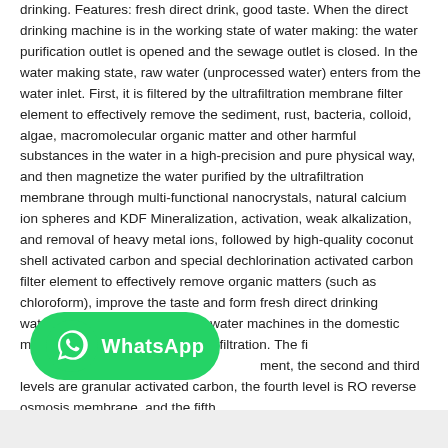drinking. Features: fresh direct drink, good taste. When the direct drinking machine is in the working state of water making: the water purification outlet is opened and the sewage outlet is closed. In the water making state, raw water (unprocessed water) enters from the water inlet. First, it is filtered by the ultrafiltration membrane filter element to effectively remove the sediment, rust, bacteria, colloid, algae, macromolecular organic matter and other harmful substances in the water in a high-precision and pure physical way, and then magnetize the water purified by the ultrafiltration membrane through multi-functional nanocrystals, natural calcium ion spheres and KDF Mineralization, activation, weak alkalization, and removal of heavy metal ions, followed by high-quality coconut shell activated carbon and special dechlorination activated carbon filter element to effectively remove organic matters (such as chloroform), improve the taste and form fresh direct drinking water.Working PrincipleAll pure water machines in the domestic market should have five levels of filtration. The fi[WhatsApp badge overlaps]ment, the second and third levels are granular activated carbon, the fourth level is RO reverse osmosis membrane, and the fifth
[Figure (logo): WhatsApp logo badge — green rounded rectangle with WhatsApp phone icon and 'WhatsApp' text in white]